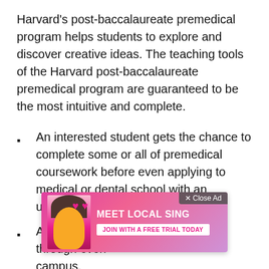Harvard's post-baccalaureate premedical program helps students to explore and discover creative ideas. The teaching tools of the Harvard post-baccalaureate premedical program are guaranteed to be the most intuitive and complete.
An interested student gets the chance to complete some or all of premedical coursework before even applying to medical or dental school with an undergraduate degree.
An opportunity to study part-time through even[ing]... campus.
Get a[ccess to] ... us coursework that helps in preparing for medical or dental school. It demonstrates